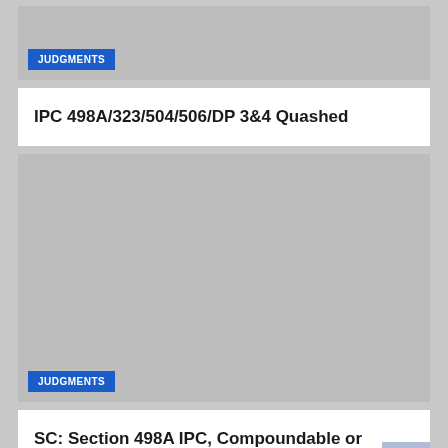JUDGMENTS
IPC 498A/323/504/506/DP 3&4 Quashed
[Figure (photo): Gray image placeholder for a legal article, with a JUDGMENTS badge at bottom left]
SC: Section 498A IPC, Compoundable or NonCompoundable
[Figure (photo): Gray image placeholder at bottom of page]